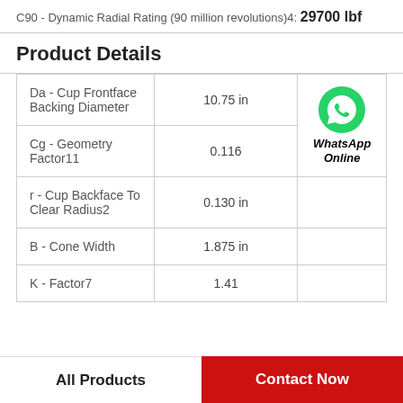C90 - Dynamic Radial Rating (90 million revolutions)4: 29700 lbf
Product Details
| Property | Value |  |
| --- | --- | --- |
| Da - Cup Frontface Backing Diameter | 10.75 in |  |
| Cg - Geometry Factor11 | 0.116 | WhatsApp Online |
| r - Cup Backface To Clear Radius2 | 0.130 in |  |
| B - Cone Width | 1.875 in |  |
| K - Factor7 | 1.41 |  |
All Products | Contact Now